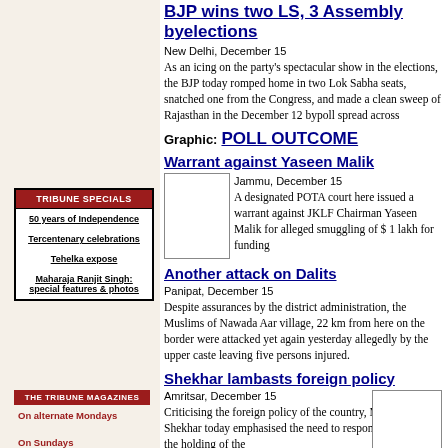BJP wins two LS, 3 Assembly byelections
New Delhi, December 15
As an icing on the party's spectacular show in the elections, the BJP today romped home in two Lok Sabha seats, snatched one from the Congress, and made a clean sweep of Rajasthan in the December 12 bypoll spread across
Graphic: POLL OUTCOME
TRIBUNE SPECIALS
50 years of Independence
Tercentenary celebrations
Tehelka expose
Maharaja Ranjit Singh: special features & photos
Warrant against Yaseen Malik
Jammu, December 15
A designated POTA court here issued a warrant against JKLF Chairman Yaseen Malik for alleged smuggling of $ 1 lakh for funding
[Figure (photo): Photo placeholder for Yaseen Malik article]
Another attack on Dalits
Panipat, December 15
Despite assurances by the district administration, the Muslims of Nawada Aar village, 22 km from here on the border were attacked yet again yesterday allegedly by the upper caste leaving five persons injured.
THE TRIBUNE MAGAZINES
On alternate Mondays
On Sundays
Shekhar lambasts foreign policy
Amritsar, December 15
Criticising the foreign policy of the country, Mr Chandra Shekhar today emphasised the need to respond positively on the holding of the
[Figure (photo): Photo placeholder for Shekhar article]